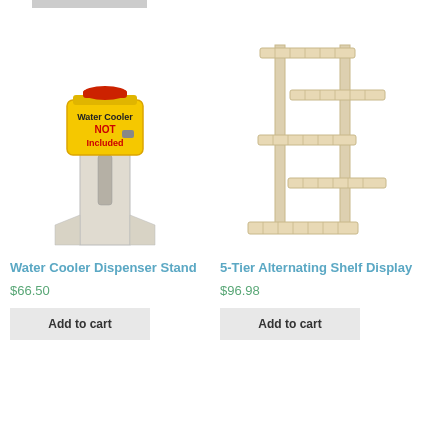[Figure (photo): Water Cooler Dispenser Stand product image — a beige/white tall stand with a yellow water cooler jug on top. Text overlay reads 'Water Cooler NOT Included'.]
Water Cooler Dispenser Stand
$66.50
Add to cart
[Figure (photo): 5-Tier Alternating Shelf Display product image — a wooden light pine multi-tier alternating shelf display unit.]
5-Tier Alternating Shelf Display
$96.98
Add to cart